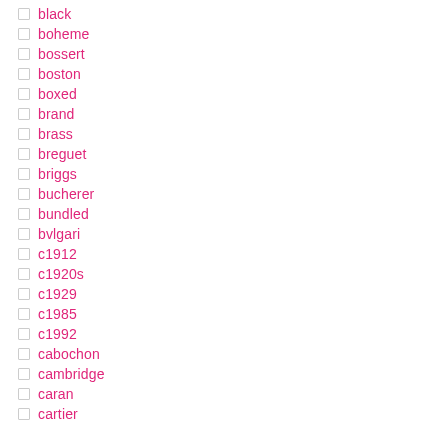black
boheme
bossert
boston
boxed
brand
brass
breguet
briggs
bucherer
bundled
bvlgari
c1912
c1920s
c1929
c1985
c1992
cabochon
cambridge
caran
cartier